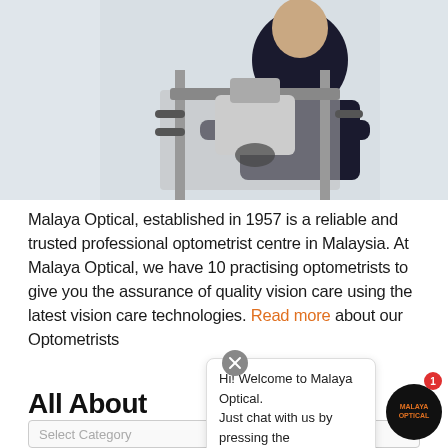[Figure (photo): Person working with optical/microscope equipment in a bright clinical setting]
Malaya Optical, established in 1957 is a reliable and trusted professional optometrist centre in Malaysia. At Malaya Optical, we have 10 practising optometrists to give you the assurance of quality vision care using the latest vision care technologies. Read more about our Optometrists
All About
Hi! Welcome to Malaya Optical. Just chat with us by pressing the buttons 😊